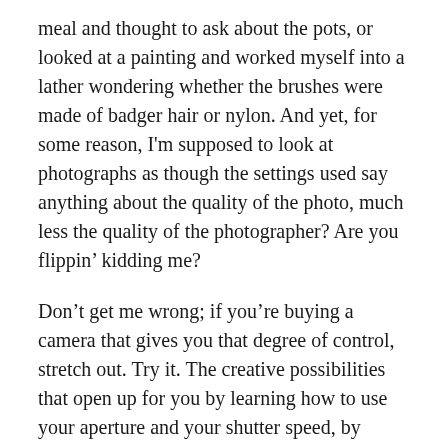meal and thought to ask about the pots, or looked at a painting and worked myself into a lather wondering whether the brushes were made of badger hair or nylon. And yet, for some reason, I'm supposed to look at photographs as though the settings used say anything about the quality of the photo, much less the quality of the photographer? Are you flippin' kidding me?
Don't get me wrong; if you're buying a camera that gives you that degree of control, stretch out. Try it. The creative possibilities that open up for you by learning how to use your aperture and your shutter speed, by being able to throw ISO and exposure compensation into the mix, are vast. You'll be able to do things with your camera that you may not have believed possible (or that you knew were possible, but weren't quite sure how to do). But you are not a lesser photographer if the camera's not set to A, S, or M.